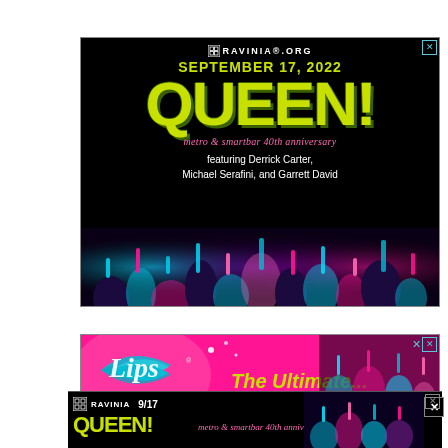[Figure (infographic): Ravinia.org advertisement on black background. Shows 'SEPTEMBER 17, 2022' in yellow-green, large 'QUEEN!' text in yellow-green graffiti style, 'metro & smartbar 40th anniversary' in pink italic, 'featuring Derrick Carter, Michael Serafini, and Garrett David' in white. Bottom portion shows colorful neon crowd photo.]
[Figure (infographic): Lips restaurant advertisement on hot pink background with teal glitter 'Lips' logo and 'The Ultimate' text partially visible.]
[Figure (infographic): Ravinia sticky banner ad on black background: Ravinia logo, '9/17', 'QUEEN!' in yellow-green, 'metro & smartbar 40th anniversary' in pink.]